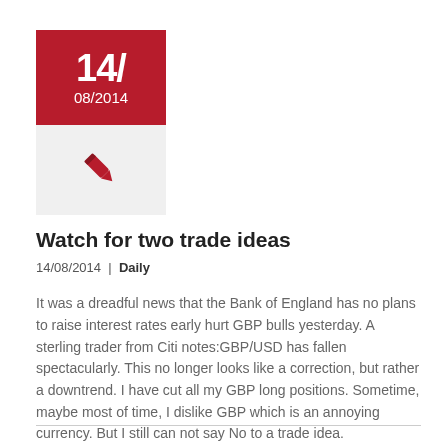[Figure (other): Red date box showing 14/ and 08/2014, with grey icon box below containing a red pen/quill icon]
Watch for two trade ideas
14/08/2014  |  Daily
It was a dreadful news that the Bank of England has no plans to raise interest rates early hurt GBP bulls yesterday. A sterling trader from Citi notes:GBP/USD has fallen spectacularly. This no longer looks like a correction, but rather a downtrend. I have cut all my GBP long positions. Sometime, maybe most of time, I dislike GBP which is an annoying currency. But I still can not say No to a trade idea.